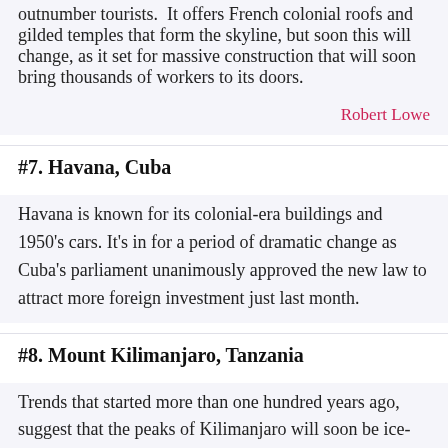outnumber tourists.  It offers French colonial roofs and gilded temples that form the skyline, but soon this will change, as it set for massive construction that will soon bring thousands of workers to its doors.
Robert Lowe
#7. Havana, Cuba
Havana is known for its colonial-era buildings and 1950's cars. It's in for a period of dramatic change as Cuba's parliament unanimously approved the new law to attract more foreign investment just last month.
#8. Mount Kilimanjaro, Tanzania
Trends that started more than one hundred years ago, suggest that the peaks of Kilimanjaro will soon be ice-free. Between 1912 and 2011, the mass of ice on its peak decreased by more than 85%